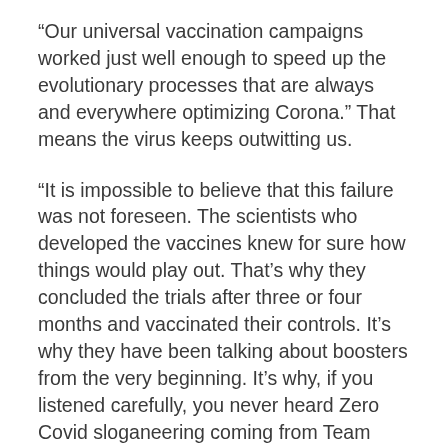“Our universal vaccination campaigns worked just well enough to speed up the evolutionary processes that are always and everywhere optimizing Corona.” That means the virus keeps outwitting us.
“It is impossible to believe that this failure was not foreseen. The scientists who developed the vaccines knew for sure how things would play out. That’s why they concluded the trials after three or four months and vaccinated their controls. It’s why they have been talking about boosters from the very beginning. It’s why, if you listened carefully, you never heard Zero Covid sloganeering coming from Team Vaccine. Only the